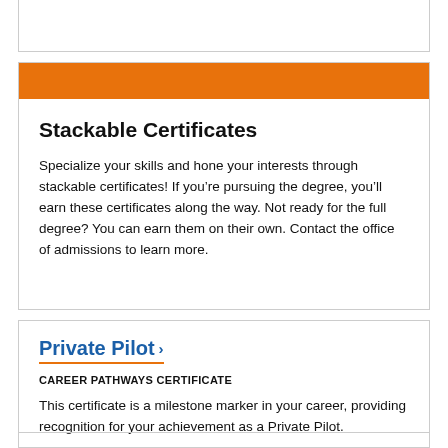Stackable Certificates
Specialize your skills and hone your interests through stackable certificates! If you’re pursuing the degree, you’ll earn these certificates along the way. Not ready for the full degree? You can earn them on their own. Contact the office of admissions to learn more.
Private Pilot
CAREER PATHWAYS CERTIFICATE
This certificate is a milestone marker in your career, providing recognition for your achievement as a Private Pilot.